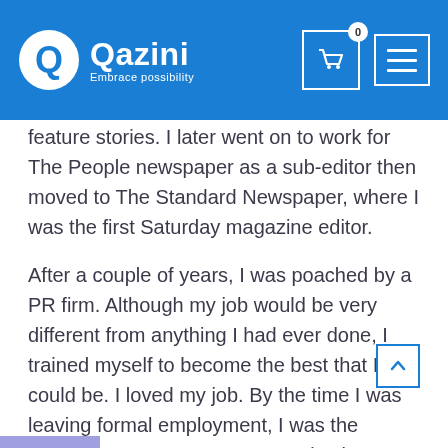Qazini — Embrace possibility
feature stories. I later went on to work for The People newspaper as a sub-editor then moved to The Standard Newspaper, where I was the first Saturday magazine editor.
After a couple of years, I was poached by a PR firm. Although my job would be very different from anything I had ever done, I trained myself to become the best that I could be. I loved my job. By the time I was leaving formal employment, I was the PR manager at Communications Concepts Limited.